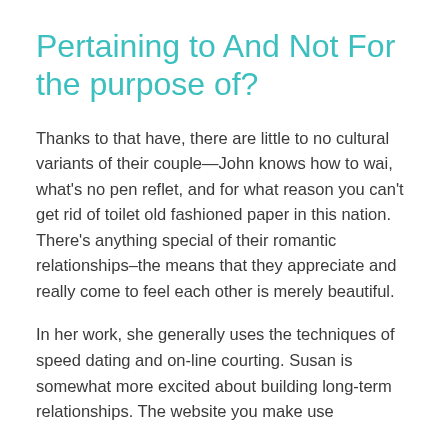Pertaining to And Not For the purpose of?
Thanks to that have, there are little to no cultural variants of their couple—John knows how to wai, what's no pen reflet, and for what reason you can't get rid of toilet old fashioned paper in this nation. There's anything special of their romantic relationships–the means that they appreciate and really come to feel each other is merely beautiful.
In her work, she generally uses the techniques of speed dating and on-line courting. Susan is somewhat more excited about building long-term relationships. The website you make use